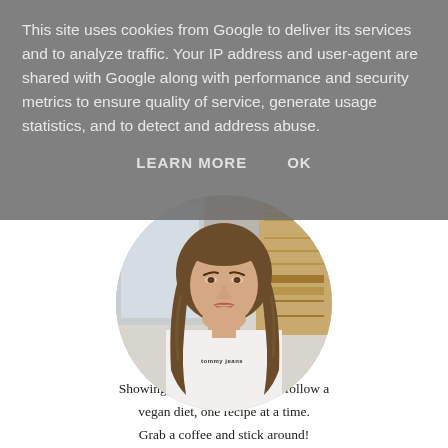This site uses cookies from Google to deliver its services and to analyze traffic. Your IP address and user-agent are shared with Google along with performance and security metrics to ensure quality of service, generate usage statistics, and to detect and address abuse.
LEARN MORE    OK
[Figure (photo): Circular profile photo of a young woman with long brown wavy hair wearing a white Tommy Jeans t-shirt, photographed against a bright indoor background.]
Showing you how easy it is to follow a vegan diet, one recipe at a time. Grab a coffee and stick around!